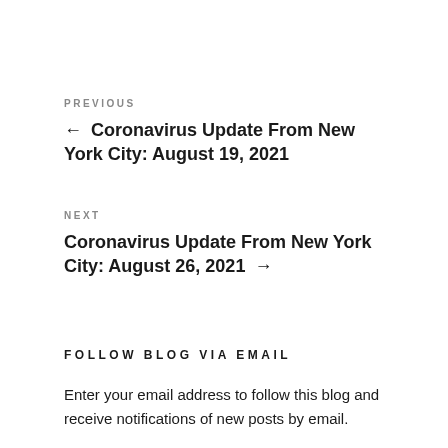PREVIOUS
← Coronavirus Update From New York City: August 19, 2021
NEXT
Coronavirus Update From New York City: August 26, 2021 →
FOLLOW BLOG VIA EMAIL
Enter your email address to follow this blog and receive notifications of new posts by email.